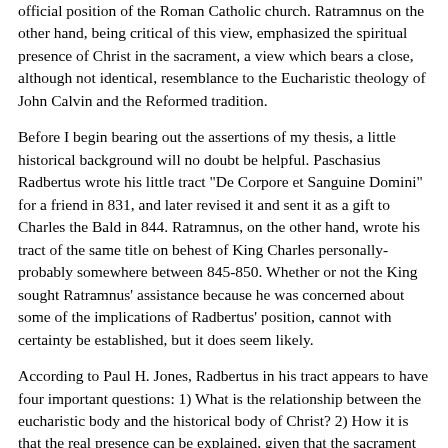official position of the Roman Catholic church. Ratramnus on the other hand, being critical of this view, emphasized the spiritual presence of Christ in the sacrament, a view which bears a close, although not identical, resemblance to the Eucharistic theology of John Calvin and the Reformed tradition.
Before I begin bearing out the assertions of my thesis, a little historical background will no doubt be helpful. Paschasius Radbertus wrote his little tract "De Corpore et Sanguine Domini" for a friend in 831, and later revised it and sent it as a gift to Charles the Bald in 844. Ratramnus, on the other hand, wrote his tract of the same title on behest of King Charles personally- probably somewhere between 845-850. Whether or not the King sought Ratramnus' assistance because he was concerned about some of the implications of Radbertus' position, cannot with certainty be established, but it does seem likely.
According to Paul H. Jones, Radbertus in his tract appears to have four important questions: 1) What is the relationship between the eucharistic body and the historical body of Christ? 2) How it is that the real presence can be explained, given that the sacrament is celebrated in many places and at many times? 3) What is the difference between bread and wine before and after consecration? and 4) What is the relation between signs and things signified. Charles the Bald on the other hand, seemed to be concerned with only two of these questions. In his letter to Ratramnus for...